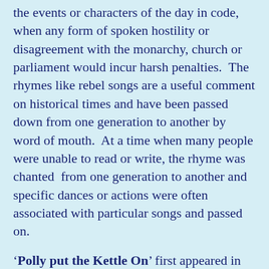the events or characters of the day in code, when any form of spoken hostility or disagreement with the monarchy, church or parliament would incur harsh penalties.  The rhymes like rebel songs are a useful comment on historical times and have been passed down from one generation to another by word of mouth.  At a time when many people were unable to read or write, the rhyme was chanted  from one generation to another and specific dances or actions were often associated with particular songs and passed on.
'Polly put the Kettle On' first appeared in print in 1797 and tells of an everyday happening when girls made tea while waiting for the boys to leave so that the they could play their own girl's game. Sing a Song of Sixpence, published in 1744, has